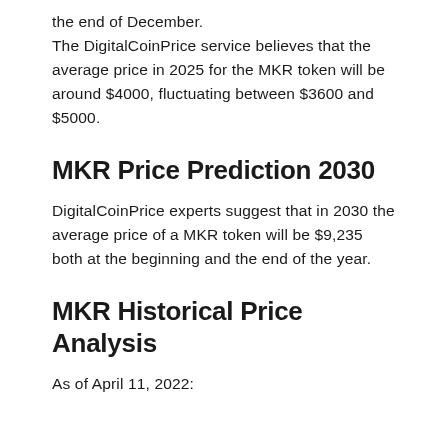the end of December. The DigitalCoinPrice service believes that the average price in 2025 for the MKR token will be around $4000, fluctuating between $3600 and $5000.
MKR Price Prediction 2030
DigitalCoinPrice experts suggest that in 2030 the average price of a MKR token will be $9,235 both at the beginning and the end of the year.
MKR Historical Price Analysis
As of April 11, 2022: